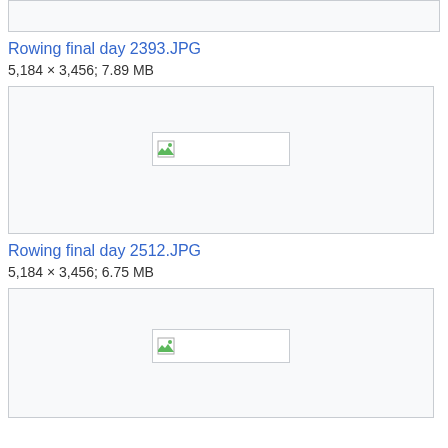[Figure (other): Top partial image box (cropped from previous entry)]
Rowing final day 2393.JPG
5,184 × 3,456; 7.89 MB
[Figure (photo): Broken image placeholder for Rowing final day 2393.JPG]
Rowing final day 2512.JPG
5,184 × 3,456; 6.75 MB
[Figure (photo): Broken image placeholder for Rowing final day 2512.JPG]